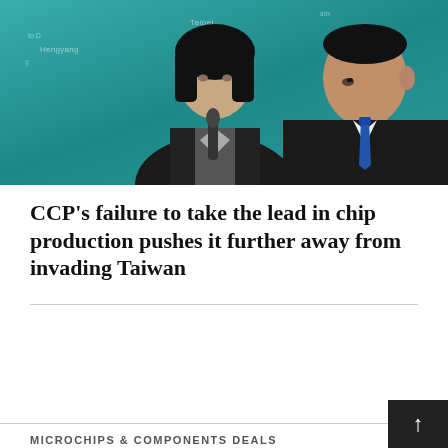[Figure (photo): Photo of two political figures: a woman speaking into a microphone on the left, and a man in a suit with a blue tie on the right, against a teal map background showing 'HAIYAN ISLANDS' text]
CCP’s failure to take the lead in chip production pushes it further away from invading Taiwan
MICROCHIPS & COMPONENTS DEALS
[Figure (photo): Product photo of Chip Quik SMD291AX Solder Paste syringes with red, green, and black colors]
Chip Quik SMD291AX Solder Paste no clean 63Sn/37Pb in 5cc syringe 15g